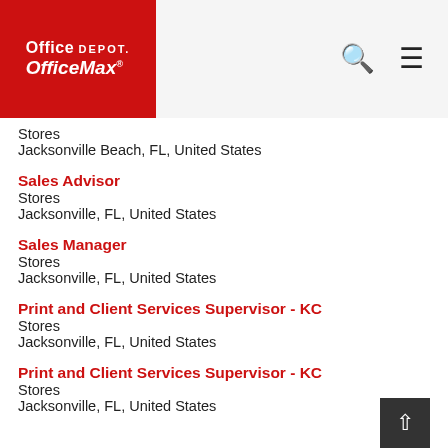Office Depot OfficeMax
Stores
Jacksonville Beach, FL, United States
Sales Advisor
Stores
Jacksonville, FL, United States
Sales Manager
Stores
Jacksonville, FL, United States
Print and Client Services Supervisor - KC
Stores
Jacksonville, FL, United States
Print and Client Services Supervisor - KC
Stores
Jacksonville, FL, United States